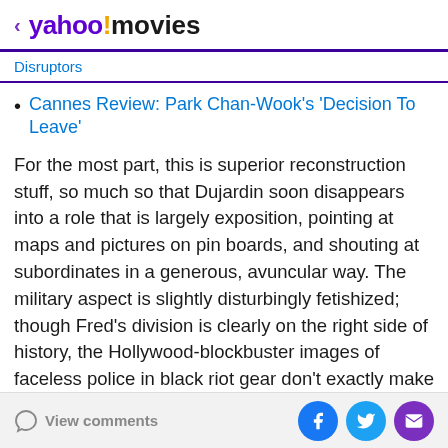< yahoo!movies
Disruptors
Cannes Review: Park Chan-Wook's 'Decision To Leave'
For the most part, this is superior reconstruction stuff, so much so that Dujardin soon disappears into a role that is largely exposition, pointing at maps and pictures on pin boards, and shouting at subordinates in a generous, avuncular way. The military aspect is slightly disturbingly fetishized; though Fred's division is clearly on the right side of history, the Hollywood-blockbuster images of faceless police in black riot gear don't exactly make it look like the cavalry is coming, which is when you might realize that you're not watching a run-of-the-mill Netflix
View comments